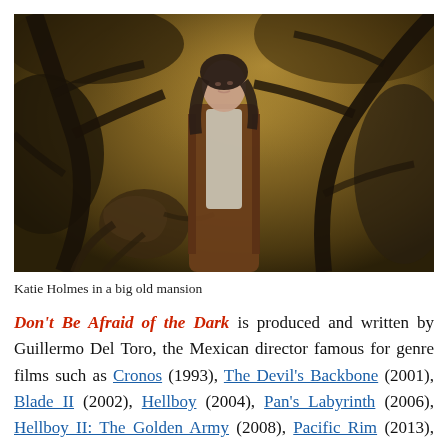[Figure (photo): Katie Holmes standing in front of a large dark painting of twisted tree branches and a creature, inside a big old mansion. She is wearing a brown fringed jacket over a white top, looking upward with concern.]
Katie Holmes in a big old mansion
Don't Be Afraid of the Dark is produced and written by Guillermo Del Toro, the Mexican director famous for genre films such as Cronos (1993), The Devil's Backbone (2001), Blade II (2002), Hellboy (2004), Pan's Labyrinth (2006), Hellboy II: The Golden Army (2008), Pacific Rim (2013), Crimson Peak (2015), The